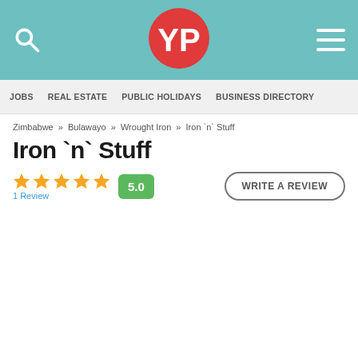YP logo, search icon, menu icon
JOBS   REAL ESTATE   PUBLIC HOLIDAYS   BUSINESS DIRECTORY
Zimbabwe » Bulawayo » Wrought Iron » Iron `n` Stuff
Iron `n` Stuff
★★★★★ 5.0   1 Review   WRITE A REVIEW